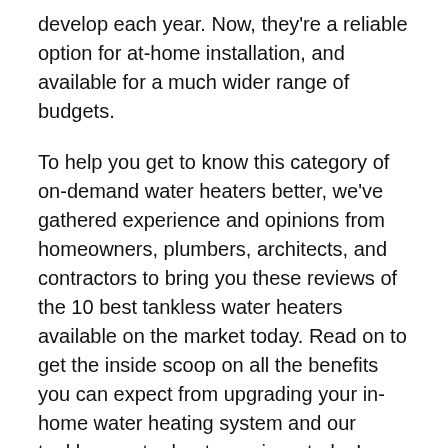develop each year. Now, they're a reliable option for at-home installation, and available for a much wider range of budgets.
To help you get to know this category of on-demand water heaters better, we've gathered experience and opinions from homeowners, plumbers, architects, and contractors to bring you these reviews of the 10 best tankless water heaters available on the market today. Read on to get the inside scoop on all the benefits you can expect from upgrading your in-home water heating system and our tankless water heater reviews today!
[Figure (other): Decorative divider line made of repeating arrow and dash pattern]
A Glance at Our Favorites in 2022